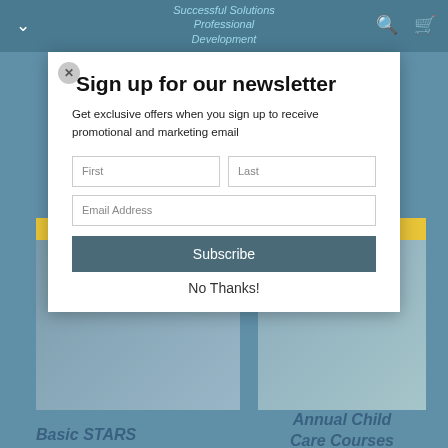Successful Solutions Professional Development
Sign up for our newsletter
Get exclusive offers when you sign up to receive promotional and marketing email
First
Last
Email Address
Subscribe
No Thanks!
Basic STARS
Annual Child Care Courses
More Information
More Information
Bloodborne Pathogens and HIV AIDS Training for Child Care
Click Here for Enrollment Options